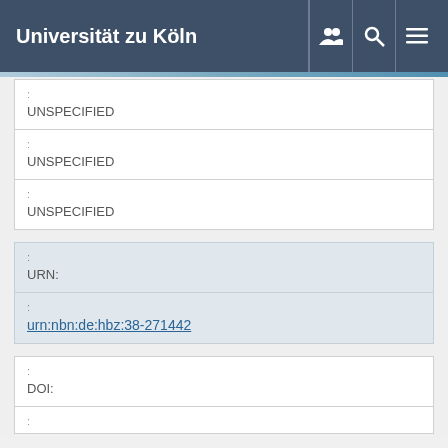Universität zu Köln
| : | UNSPECIFIED |
| : | UNSPECIFIED |
| : | UNSPECIFIED |
| : |  |
| : | URN: |
| : | urn:nbn:de:hbz:38-271442 |
| : |  |
| : | DOI: |
| : |  |